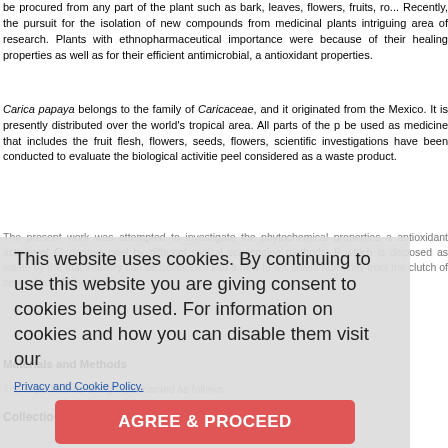be procured from any part of the plant such as bark, leaves, flowers, fruits, ro... Recently, the pursuit for the isolation of new compounds from medicinal plants... intriguing area of research. Plants with ethnopharmaceutical importance wer... because of their healing properties as well as for their efficient antimicrobial, a... antioxidant properties.
Carica papaya belongs to the family of Caricaceae, and it originated from the... Mexico. It is presently distributed over the world's tropical area. All parts of the p... be used as medicine that includes the fruit flesh, flowers, seeds, flowers, ... scientific investigations have been conducted to evaluate the biological activitie... peel considered as a waste product.
The present work was attempted to investigate the phytochemical properties a... antioxidant activity of C. papaya peel by different radical scavenging methods. P... which is disposed as waste by the fruit industry can be developed into a new fu... will shield humanity from the clutch of several lethal disorders.
[Figure (screenshot): Cookie consent overlay with text 'This website uses cookies. By continuing to use this website you are giving consent to cookies being used. For information on cookies and how you can disable them visit our Privacy and Cookie Policy.' and a red 'AGREE & PROCEED' button.]
Materials and Methods
The experimental design was carried as follows:
Collection and authentication of plant